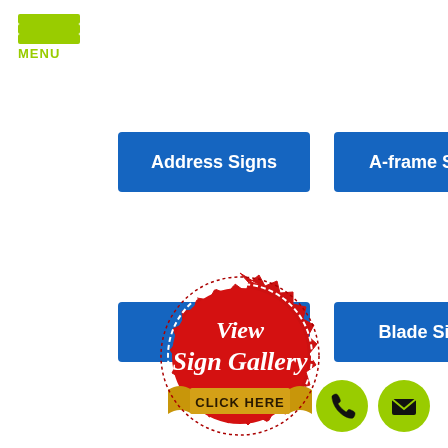MENU
Address Signs
A-frame Signs
[Figure (illustration): Red badge/seal with gold ribbon banner reading 'View Sign Gallery CLICK HERE']
Blade Signs
[Figure (illustration): Green circle phone icon and green circle mail/envelope icon at bottom right]